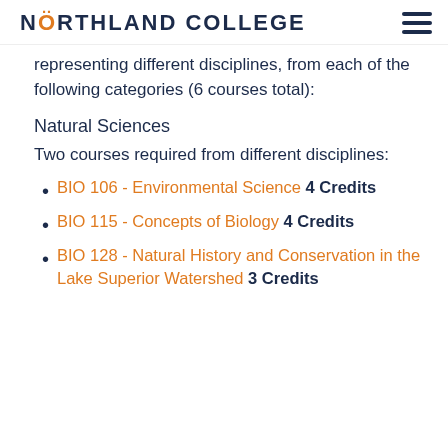NORTHLAND COLLEGE
representing different disciplines, from each of the following categories (6 courses total):
Natural Sciences
Two courses required from different disciplines:
BIO 106 - Environmental Science 4 Credits
BIO 115 - Concepts of Biology 4 Credits
BIO 128 - Natural History and Conservation in the Lake Superior Watershed 3 Credits